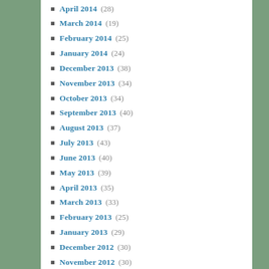April 2014 (28)
March 2014 (19)
February 2014 (25)
January 2014 (24)
December 2013 (38)
November 2013 (34)
October 2013 (34)
September 2013 (40)
August 2013 (37)
July 2013 (43)
June 2013 (40)
May 2013 (39)
April 2013 (35)
March 2013 (33)
February 2013 (25)
January 2013 (29)
December 2012 (30)
November 2012 (30)
October 2012 (25)
September 2012 (19)
August 2012 (21)
July 2012 (19)